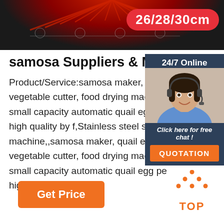[Figure (photo): Top banner showing a dark cooking appliance with red heating element, with a red rounded badge reading 26/28/30cm]
samosa Suppliers & Manufacturers
Product/Service:samosa maker, quail vegetable cutter, food drying machine, small capacity automatic quail egg pe high quality by f,Stainless steel samos machine,,samosa maker, quail egg pe vegetable cutter, food drying machine, small capacity automatic quail egg pe high quality by f ...
[Figure (photo): 24/7 Online customer support widget with photo of woman with headset, Click here for free chat!, and QUOTATION button]
[Figure (other): Get Price orange button]
[Figure (logo): TOP logo with orange dots arranged in triangle above the word TOP in orange]